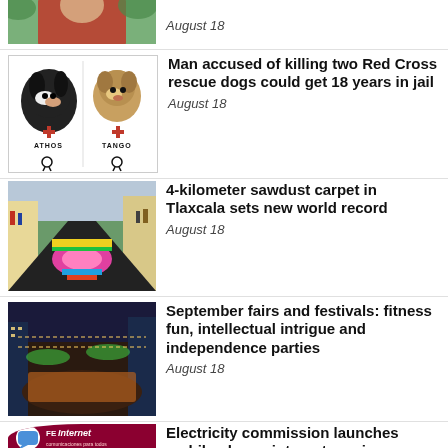[Figure (photo): Partial view of person in red shirt, cropped at top]
August 18
[Figure (photo): Two Red Cross rescue dogs labeled ATHOS and TANGO with black ribbons]
Man accused of killing two Red Cross rescue dogs could get 18 years in jail
August 18
[Figure (photo): 4-kilometer sawdust carpet in Tlaxcala street with colorful patterns and crowds]
4-kilometer sawdust carpet in Tlaxcala sets new world record
August 18
[Figure (photo): Aerial night view of city festival or fair with lights and large crowd]
September fairs and festivals: fitness fun, intellectual intrigue and independence parties
August 18
[Figure (logo): CFE Internet advertisement logo with chat bubble icon, red background]
Electricity commission launches mobile phone, internet service